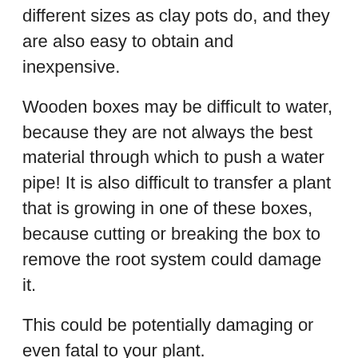different sizes as clay pots do, and they are also easy to obtain and inexpensive.
Wooden boxes may be difficult to water, because they are not always the best material through which to push a water pipe! It is also difficult to transfer a plant that is growing in one of these boxes, because cutting or breaking the box to remove the root system could damage it.
This could be potentially damaging or even fatal to your plant.
Plastic containers are also very popular. They come in just as many different sizes and varieties as clay pots and wooden boxes, and they have many of the pros